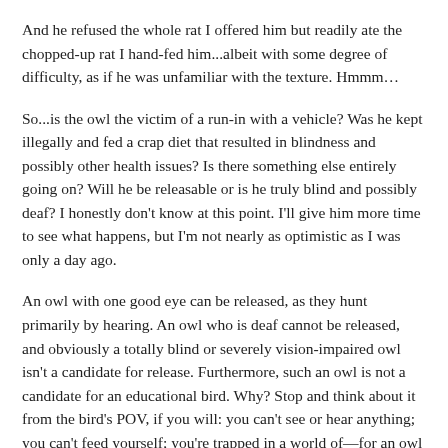And he refused the whole rat I offered him but readily ate the chopped-up rat I hand-fed him...albeit with some degree of difficulty, as if he was unfamiliar with the texture. Hmmm…
So...is the owl the victim of a run-in with a vehicle? Was he kept illegally and fed a crap diet that resulted in blindness and possibly other health issues? Is there something else entirely going on? Will he be releasable or is he truly blind and possibly deaf? I honestly don't know at this point. I'll give him more time to see what happens, but I'm not nearly as optimistic as I was only a day ago.
An owl with one good eye can be released, as they hunt primarily by hearing. An owl who is deaf cannot be released, and obviously a totally blind or severely vision-impaired owl isn't a candidate for release. Furthermore, such an owl is not a candidate for an educational bird. Why? Stop and think about it from the bird's POV, if you will: you can't see or hear anything; you can't feed yourself; you're trapped in a world of—for an owl—near-total sensory deprivation. This isn't living; it's barely existing.